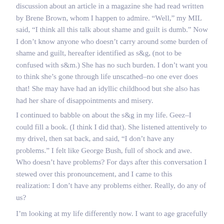discussion about an article in a magazine she had read written by Brene Brown, whom I happen to admire. “Well,” my MIL said, “I think all this talk about shame and guilt is dumb.” Now I don’t know anyone who doesn’t carry around some burden of shame and guilt, hereafter identified as s&g, (not to be confused with s&m.) She has no such burden. I don’t want you to think she’s gone through life unscathed–no one ever does that! She may have had an idyllic childhood but she also has had her share of disappointments and misery.
I continued to babble on about the s&g in my life. Geez–I could fill a book. (I think I did that). She listened attentively to my drivel, then sat back, and said, “I don’t have any problems.” I felt like George Bush, full of shock and awe. Who doesn’t have problems? For days after this conversation I stewed over this pronouncement, and I came to this realization: I don’t have any problems either. Really, do any of us?
I’m looking at my life differently now. I want to age gracefully